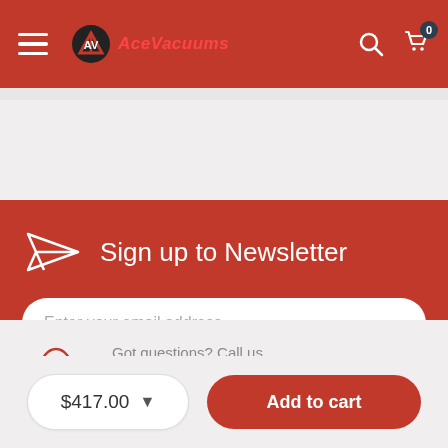AceVacuums navigation header with menu, logo, search, and cart (0 items)
Sign up to Newsletter
Enter your email address
Subscribe
Got questions? Call us
1 888 606 8885
$417.00
Add to cart